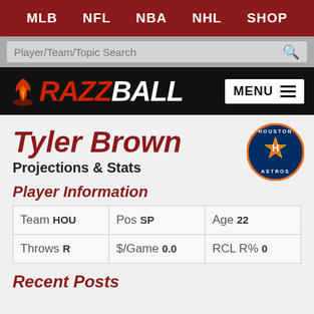MLB  NFL  NBA  NHL  SHOP
Player/Team/Topic Search
[Figure (logo): Razzball logo with flame icon and MENU button]
Tyler Brown
Projections & Stats
[Figure (logo): Houston Astros circular team logo]
Player Information
| Team | HOU | Pos | SP | Age | 22 |
| Throws | R | $/Game | 0.0 | RCL R% | 0 |
Recent Posts